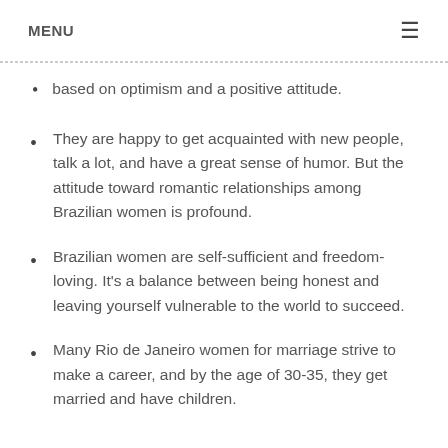MENU ≡
based on optimism and a positive attitude.
They are happy to get acquainted with new people, talk a lot, and have a great sense of humor. But the attitude toward romantic relationships among Brazilian women is profound.
Brazilian women are self-sufficient and freedom-loving. It's a balance between being honest and leaving yourself vulnerable to the world to succeed.
Many Rio de Janeiro women for marriage strive to make a career, and by the age of 30-35, they get married and have children.